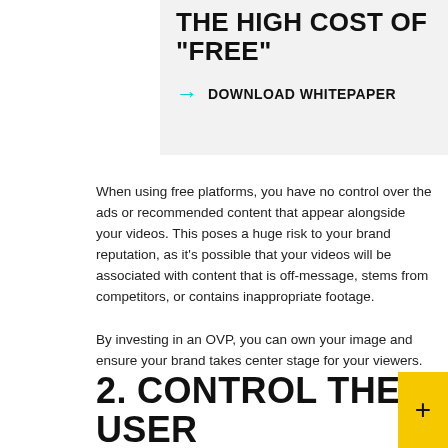THE HIGH COST OF “FREE”
DOWNLOAD WHITEPAPER
When using free platforms, you have no control over the ads or recommended content that appear alongside your videos. This poses a huge risk to your brand reputation, as it’s possible that your videos will be associated with content that is off-message, stems from competitors, or contains inappropriate footage.
By investing in an OVP, you can own your image and ensure your brand takes center stage for your viewers.
2. CONTROL THE USER EXPERIENCE